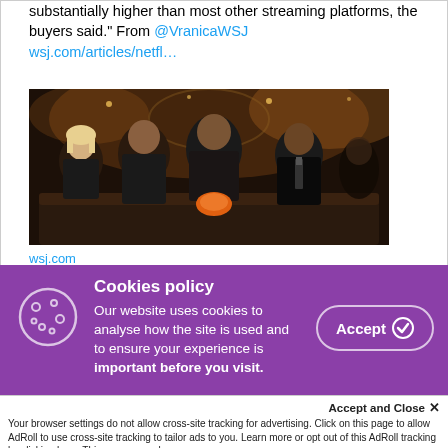substantially higher than most other streaming platforms, the buyers said." From @VranicaWSJ wsj.com/articles/netfl…
[Figure (photo): Dark photo showing several people sitting on a couch in a dimly lit ornate room, one person holding an orange object]
wsj.com
Cookies policy
Our website uses cookies to analyse how the site is used and to ensure your experience is important before you visit.
Accept ✓
Accept and Close ✕
Your browser settings do not allow cross-site tracking for advertising. Click on this page to allow AdRoll to use cross-site tracking to tailor ads to you. Learn more or opt out of this AdRoll tracking by clicking here. This message only appears once.